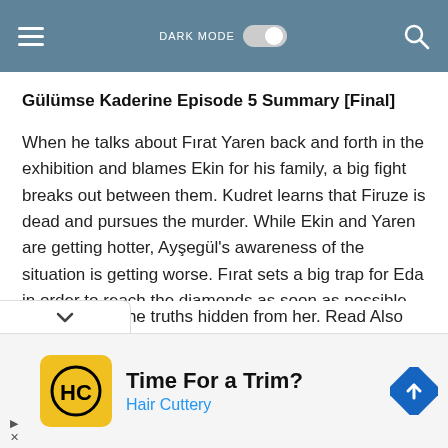DARK MODE [toggle] [search]
Gülümse Kaderine Episode 5 Summary [Final]
When he talks about Fırat Yaren back and forth in the exhibition and blames Ekin for his family, a big fight breaks out between them. Kudret learns that Firuze is dead and pursues the murder. While Ekin and Yaren are getting hotter, Ayşegül's awareness of the situation is getting worse. Fırat sets a big trap for Eda in order to reach the diamonds as soon as possible. While Kudret is chasing Firuze and her past, Yaren will have to make a …ion by facing the truths hidden from her. Read Also
[Figure (screenshot): Advertisement banner: Hair Cuttery - Time For a Trim?]